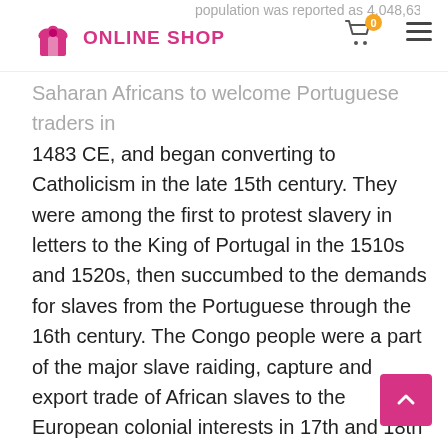ONLINE SHOP — navigation bar with cart (0) and hamburger menu
population was reported as 4,048,630. [3]
Saharan Africans to welcome Portuguese traders in 1483 CE, and began converting to Catholicism in the late 15th century. They were among the first to protest slavery in letters to the King of Portugal in the 1510s and 1520s, then succumbed to the demands for slaves from the Portuguese through the 16th century. The Congo people were a part of the major slave raiding, capture and export trade of African slaves to the European colonial interests in 17th and 18th century. The slave raids, colonial wars and the 19th-century Scramble for Africa split the Congo people into Portuguese, Belgian and French parts. In the early 20th century, they became one of the most active ethnic groups in the efforts to decolonize Africa, helping liberate the three nations